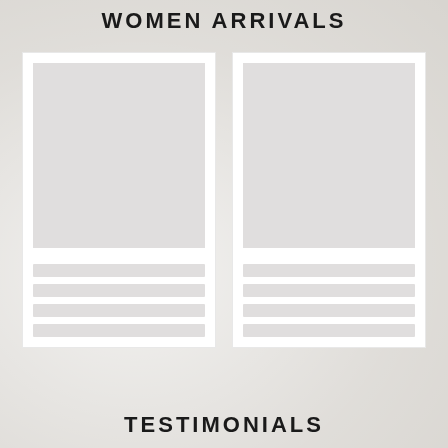WOMEN ARRIVALS
[Figure (illustration): Two product card placeholders side by side, each with a grey image area and four grey text line placeholders below]
TESTIMONIALS